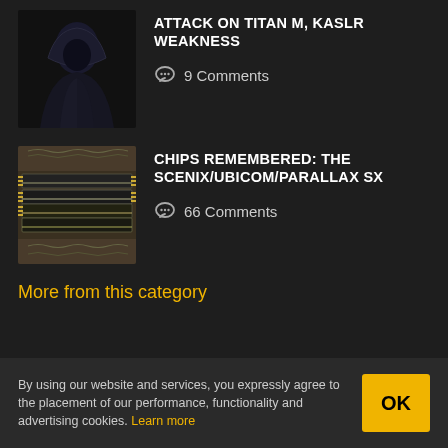[Figure (illustration): Dark hooded figure illustration thumbnail for article about Titan M, KASLR attack]
ATTACK ON TITAN M, KASLR WEAKNESS
9 Comments
[Figure (photo): Photo of multiple integrated circuit chips stacked, with visible gold pins]
CHIPS REMEMBERED: THE SCENIX/UBICOM/PARALLAX SX
66 Comments
More from this category
By using our website and services, you expressly agree to the placement of our performance, functionality and advertising cookies. Learn more